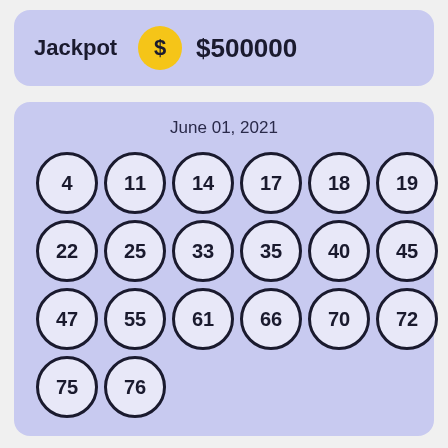Jackpot   $500000
June 01, 2021
[Figure (infographic): Lottery number balls arranged in a 4-row grid: Row 1: 4, 11, 14, 17, 18, 19. Row 2: 22, 25, 33, 35, 40, 45. Row 3: 47, 55, 61, 66, 70, 72. Row 4: 75, 76.]